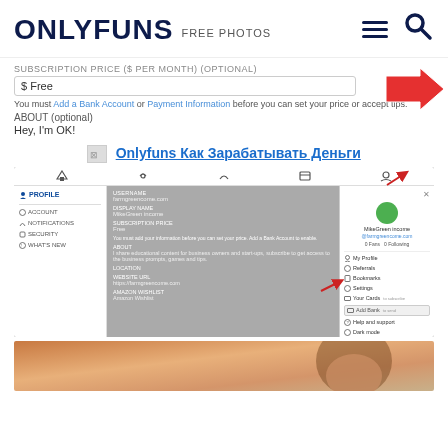ONLYFUNS FREE PHOTOS
SUBSCRIPTION PRICE ($ PER MONTH) (optional)
$ Free
You must Add a Bank Account or Payment Information before you can set your price or accept tips.
ABOUT (optional)
Hey, I'm OK!
[Figure (screenshot): Hyperlink with broken image icon: Onlyfuns Как Зарабатывать Деньги]
[Figure (screenshot): Screenshot of Onlyfuns profile settings page with sidebar menu showing Profile, Account, Notifications, Security, What's New options; center content showing profile fields; right panel showing user dropdown menu with My Profile, Referrals, Bookmarks, Settings, Your Cards, Add Bank, Help and support, Dark mode, English, Logout options. Red arrows pointing to profile icon and Add Bank option.]
[Figure (photo): Partial photo of a person at the bottom of the page]